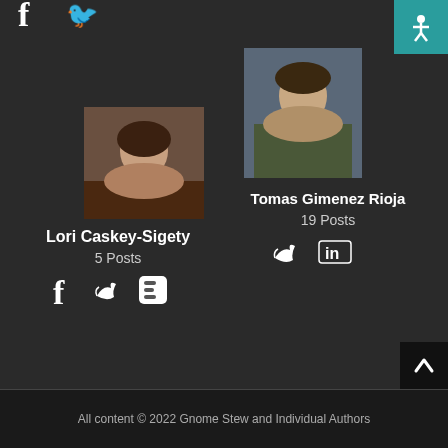[Figure (illustration): Partial social icons at top left (Facebook, Twitter)]
[Figure (photo): Portrait photo of Lori Caskey-Sigety]
Lori Caskey-Sigety
5 Posts
[Figure (illustration): Social icons: Facebook, Twitter, Blogger]
[Figure (photo): Portrait photo of Tomas Gimenez Rioja]
Tomas Gimenez Rioja
19 Posts
[Figure (illustration): Social icons: Twitter, LinkedIn]
[Figure (illustration): Sketch/drawing avatar of Matthew J. Neagley (cartoon bear or animal)]
Matthew J. Neagley
207 Posts
[Figure (photo): Portrait photo of Troy E. Taylor]
Troy E. Taylor
237 Posts
[Figure (illustration): Social icons: Facebook, Twitter, Google+, WordPress]
All content © 2022 Gnome Stew and Individual Authors